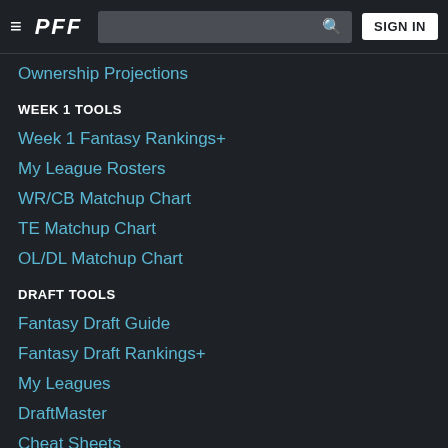PFF — SIGN IN
Ownership Projections
WEEK 1 TOOLS
Week 1 Fantasy Rankings+
My League Rosters
WR/CB Matchup Chart
TE Matchup Chart
OL/DL Matchup Chart
DRAFT TOOLS
Fantasy Draft Guide
Fantasy Draft Rankings+
My Leagues
DraftMaster
Cheat Sheets
SOCIAL
@PFF_Fantasy